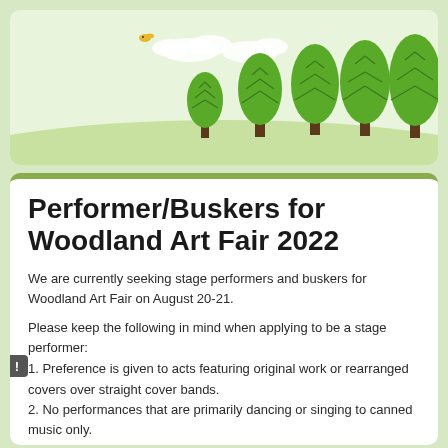[Figure (illustration): Woodland scene with green trees of various sizes on a light green background, with a small yellow bird and white clouds.]
Performer/Buskers for Woodland Art Fair 2022
We are currently seeking stage performers and buskers for Woodland Art Fair on August 20-21.
Please keep the following in mind when applying to be a stage performer:
1. Preference is given to acts featuring original work or rearranged covers over straight cover bands.
2. No performances that are primarily dancing or singing to canned music only.
3. We provide the sound system and technicians for